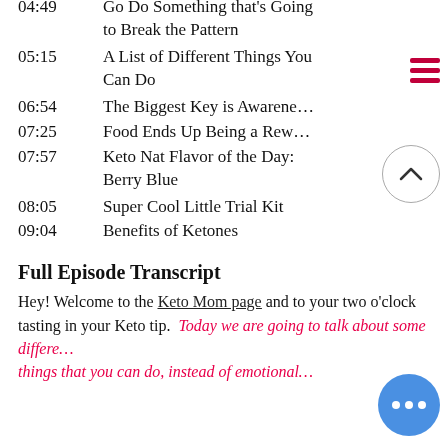04:49   Go Do Something that's Going to Break the Pattern
05:15   A List of Different Things You Can Do
06:54   The Biggest Key is Awareness
07:25   Food Ends Up Being a Reward
07:57   Keto Nat Flavor of the Day: Berry Blue
08:05   Super Cool Little Trial Kit
09:04   Benefits of Ketones
Full Episode Transcript
Hey! Welcome to the Keto Mom page and to your two o'clock tasting in your Keto tip.  Today we are going to talk about some different things that you can do, instead of emotionally eating. So if you have not yet liked or followed